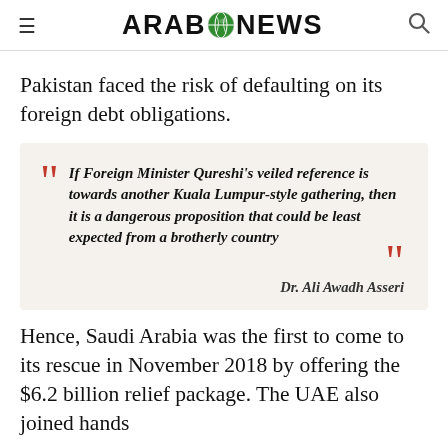ARAB NEWS
Pakistan faced the risk of defaulting on its foreign debt obligations.
If Foreign Minister Qureshi’s veiled reference is towards another Kuala Lumpur-style gathering, then it is a dangerous proposition that could be least expected from a brotherly country — Dr. Ali Awadh Asseri
Hence, Saudi Arabia was the first to come to its rescue in November 2018 by offering the $6.2 billion relief package. The UAE also joined hands